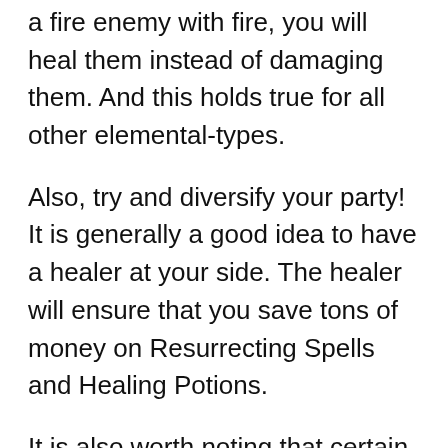a fire enemy with fire, you will heal them instead of damaging them. And this holds true for all other elemental-types.
Also, try and diversify your party! It is generally a good idea to have a healer at your side. The healer will ensure that you save tons of money on Resurrecting Spells and Healing Potions.
It is also worth noting that certain environmental objects can hinder your attacks even if the probability is 100%. If you ever find yourself in such a situation, it is generally a good idea to change your location. In addition to this, you can also try AOE attacks which tend to cover up a whole area and damage your